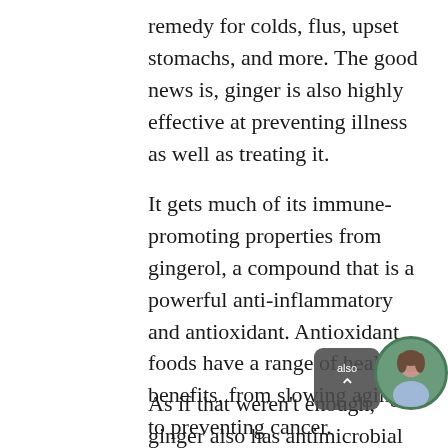remedy for colds, flus, upset stomachs, and more. The good news is, ginger is also highly effective at preventing illness as well as treating it.
It gets much of its immune-promoting properties from gingerol, a compound that is a powerful anti-inflammatory and antioxidant. Antioxidant foods have a range of health benefits, from slowing aging to preventing cancer.
As if that weren't enough, ginger also has antimicrobial properties, which makes it a powerhouse when it comes
[Figure (photo): Small circular avatar photo of a woman in blue/light colored clothing, overlaid on a green circle background, positioned at bottom right of page. Also a dark rounded rectangle scroll-to-top button with upward chevron arrow.]